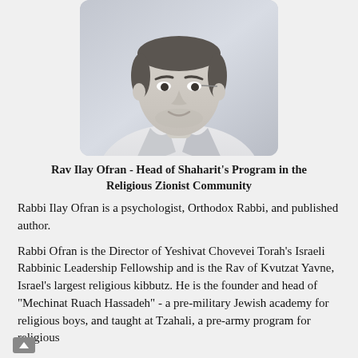[Figure (photo): Black and white headshot photo of Rav Ilay Ofran, a man in a collared shirt, smiling slightly, with short dark hair.]
Rav Ilay Ofran - Head of Shaharit's Program in the Religious Zionist Community
Rabbi Ilay Ofran is a psychologist, Orthodox Rabbi, and published author.
Rabbi Ofran is the Director of Yeshivat Chovevei Torah's Israeli Rabbinic Leadership Fellowship and is the Rav of Kvutzat Yavne, Israel's largest religious kibbutz. He is the founder and head of "Mechinat Ruach Hassadeh" - a pre-military Jewish academy for religious boys, and taught at Tzahali, a pre-army program for religious